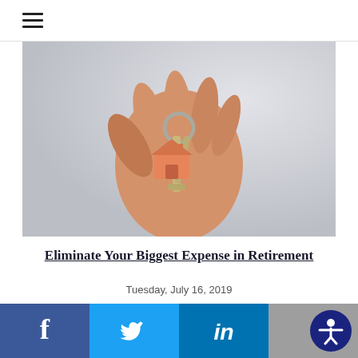≡ (hamburger menu)
[Figure (photo): Close-up photo of a hand holding keys with an orange house-shaped keychain]
Eliminate Your Biggest Expense in Retirement
Tuesday, July 16, 2019
[Figure (other): Carousel navigation dots, first dot active (green), nine inactive dots]
[Figure (infographic): Social media sharing bar with Facebook, Twitter, LinkedIn icons and accessibility button]